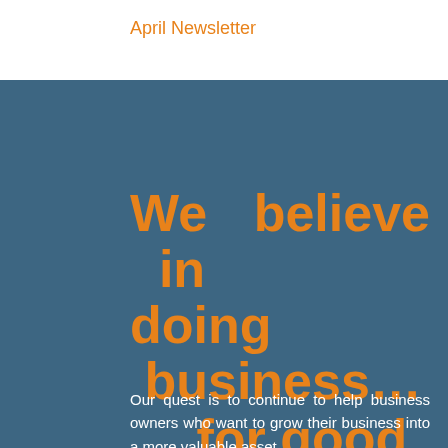April Newsletter
We believe in doing business… …for good
Our quest is to continue to help business owners who want to grow their business into a more valuable asset.
We do this through a number of our enterprises.